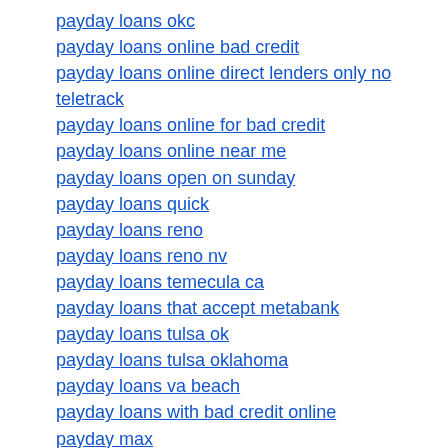payday loans okc
payday loans online bad credit
payday loans online direct lenders only no teletrack
payday loans online for bad credit
payday loans online near me
payday loans open on sunday
payday loans quick
payday loans reno
payday loans reno nv
payday loans temecula ca
payday loans that accept metabank
payday loans tulsa ok
payday loans tulsa oklahoma
payday loans va beach
payday loans with bad credit online
payday max
payday max loan
payday max loans
payday now loans